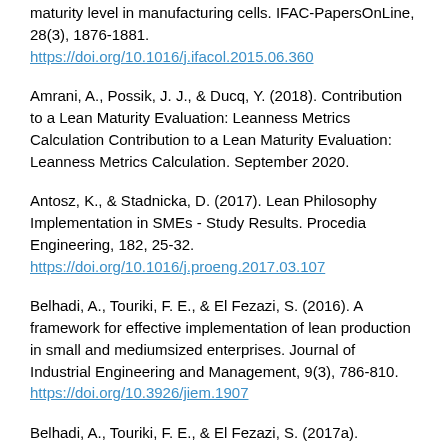maturity level in manufacturing cells. IFAC-PapersOnLine, 28(3), 1876-1881. https://doi.org/10.1016/j.ifacol.2015.06.360
Amrani, A., Possik, J. J., & Ducq, Y. (2018). Contribution to a Lean Maturity Evaluation: Leanness Metrics Calculation Contribution to a Lean Maturity Evaluation: Leanness Metrics Calculation. September 2020.
Antosz, K., & Stadnicka, D. (2017). Lean Philosophy Implementation in SMEs - Study Results. Procedia Engineering, 182, 25-32. https://doi.org/10.1016/j.proeng.2017.03.107
Belhadi, A., Touriki, F. E., & El Fezazi, S. (2016). A framework for effective implementation of lean production in small and mediumsized enterprises. Journal of Industrial Engineering and Management, 9(3), 786-810. https://doi.org/10.3926/jiem.1907
Belhadi, A., Touriki, F. E., & El Fezazi, S. (2017a). Prioritizing the solutions of lean implementation in SMEs to overcome its